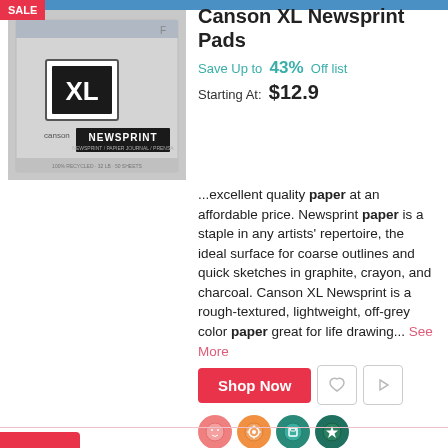[Figure (photo): Canson XL Newsprint Pad product image with SALE badge overlay and blue top bar]
Canson XL Newsprint Pads
Save Up to 43% Off list
Starting At: $12.9
...excellent quality paper at an affordable price. Newsprint paper is a staple in any artists' repertoire, the ideal surface for coarse outlines and quick sketches in graphite, crayon, and charcoal. Canson XL Newsprint is a rough-textured, lightweight, off-grey color paper great for life drawing... See More